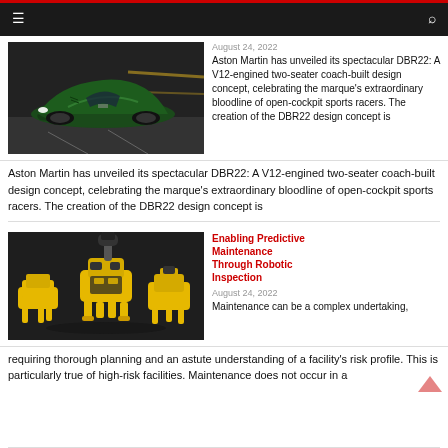Navigation bar with hamburger menu and search icon
[Figure (photo): Green Aston Martin DBR22 sports car racing on track]
August 24, 2022
Aston Martin has unveiled its spectacular DBR22: A V12-engined two-seater coach-built design concept, celebrating the marque's extraordinary bloodline of open-cockpit sports racers. The creation of the DBR22 design concept is
[Figure (photo): Yellow and black Boston Dynamics Spot robots on dark background for Enabling Predictive Maintenance Through Robotic Inspection article]
Enabling Predictive Maintenance Through Robotic Inspection
August 24, 2022
Maintenance can be a complex undertaking, requiring thorough planning and an astute understanding of a facility's risk profile. This is particularly true of high-risk facilities. Maintenance does not occur in a